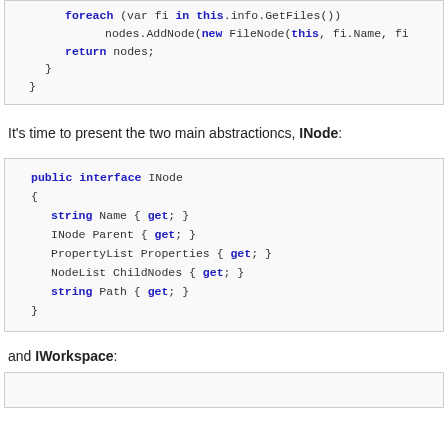[Figure (screenshot): Code snippet showing foreach loop with nodes.AddNode and return nodes, with closing braces.]
It's time to present the two main abstractioncs, INode:
[Figure (screenshot): C# code block showing public interface INode with string Name { get; }, INode Parent { get; }, PropertyList Properties { get; }, NodeList ChildNodes { get; }, string Path { get; } inside braces.]
and IWorkspace: